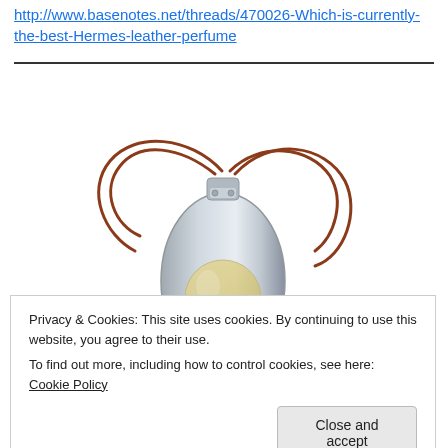http://www.basenotes.net/threads/470026-Which-is-currently-the-best-Hermes-leather-perfume
[Figure (photo): A silver teardrop-shaped perfume bottle with a rust/terracotta colored cord or lace threaded through the top, photographed on a white background. The bottle appears to be an Hermes perfume.]
Privacy & Cookies: This site uses cookies. By continuing to use this website, you agree to their use.
To find out more, including how to control cookies, see here: Cookie Policy
Close and accept